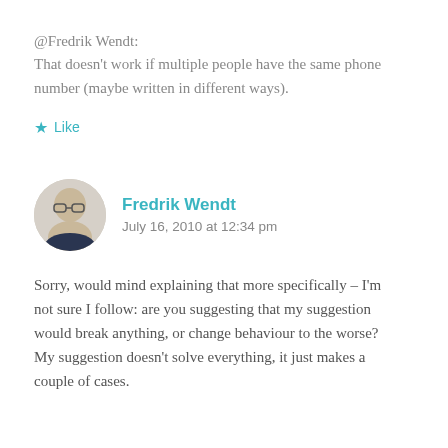@Fredrik Wendt:
That doesn't work if multiple people have the same phone number (maybe written in different ways).
★ Like
Fredrik Wendt
July 16, 2010 at 12:34 pm
Sorry, would mind explaining that more specifically – I'm not sure I follow: are you suggesting that my suggestion would break anything, or change behaviour to the worse? My suggestion doesn't solve everything, it just makes a couple of cases.